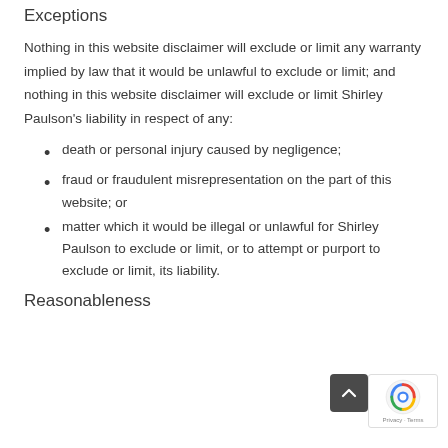Exceptions
Nothing in this website disclaimer will exclude or limit any warranty implied by law that it would be unlawful to exclude or limit; and nothing in this website disclaimer will exclude or limit Shirley Paulson’s liability in respect of any:
death or personal injury caused by negligence;
fraud or fraudulent misrepresentation on the part of this website; or
matter which it would be illegal or unlawful for Shirley Paulson to exclude or limit, or to attempt or purport to exclude or limit, its liability.
Reasonableness